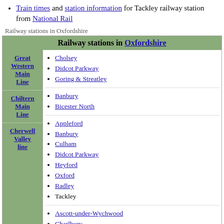Train times and station information for Tackley railway station from National Rail
Railway stations in Oxfordshire
| Line | Stations |
| --- | --- |
| Great Western Main Line | Cholsey; Didcot Parkway; Goring & Streatley |
| Chiltern Main Line | Banbury; Bicester North |
| Cherwell Valley line | Appleford; Banbury; Culham; Didcot Parkway; Heyford; Oxford; Radley; Tackley |
|  | Ascott-under-Wychwood; Charlbury; Combe; Finstock... |